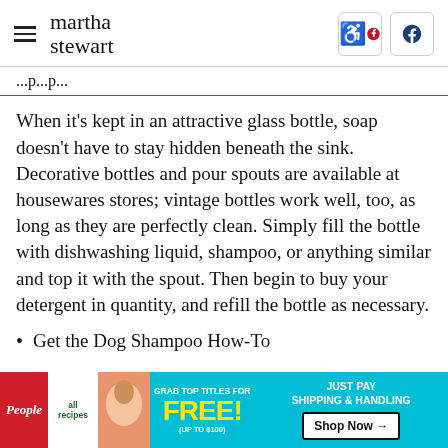martha stewart
When it's kept in an attractive glass bottle, soap doesn't have to stay hidden beneath the sink. Decorative bottles and pour spouts are available at housewares stores; vintage bottles work well, too, as long as they are perfectly clean. Simply fill the bottle with dishwashing liquid, shampoo, or anything similar and top it with the spout. Then begin to buy your detergent in quantity, and refill the bottle as necessary.
Get the Dog Shampoo How-To
[Figure (other): Advertisement banner: People and allrecipes magazines promotion - Grab top titles for FREE! (up to $100) Just pay shipping & handling. Shop Now button.]